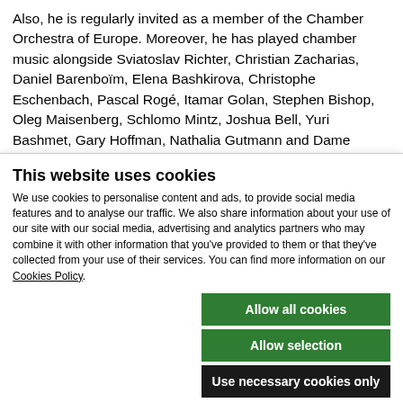Also, he is regularly invited as a member of the Chamber Orchestra of Europe. Moreover, he has played chamber music alongside Sviatoslav Richter, Christian Zacharias, Daniel Barenboïm, Elena Bashkirova, Christophe Eschenbach, Pascal Rogé, Itamar Golan, Stephen Bishop, Oleg Maisenberg, Schlomo Mintz, Joshua Bell, Yuri Bashmet, Gary Hoffman, Nathalia Gutmann and Dame Felicity Lott.
He frequently performs as a solist in prestigious international music halls like the Wigmore Hall in London, the Musikverein in
This website uses cookies
We use cookies to personalise content and ads, to provide social media features and to analyse our traffic. We also share information about your use of our site with our social media, advertising and analytics partners who may combine it with other information that you've provided to them or that they've collected from your use of their services. You can find more information on our Cookies Policy.
Allow all cookies
Allow selection
Use necessary cookies only